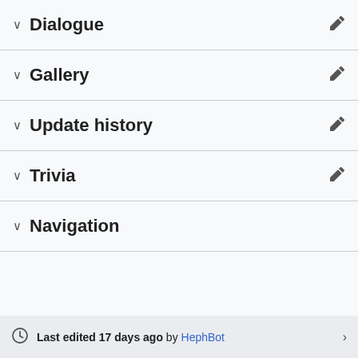Dialogue
Gallery
Update history
Trivia
Navigation
Last edited 17 days ago by HephBot